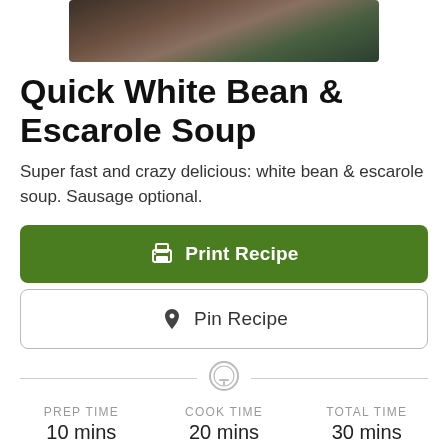[Figure (photo): Photo of white bean and escarole soup in a bowl, viewed from above]
Quick White Bean & Escarole Soup
Super fast and crazy delicious: white bean & escarole soup. Sausage optional.
Print Recipe
Pin Recipe
PREP TIME
10 mins
COOK TIME
20 mins
TOTAL TIME
30 mins